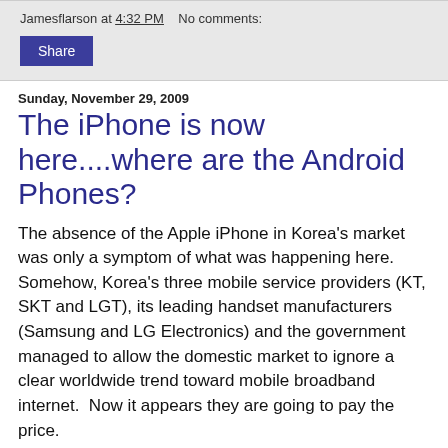Jamesflarson at 4:32 PM   No comments:
Share
Sunday, November 29, 2009
The iPhone is now here....where are the Android Phones?
The absence of the Apple iPhone in Korea's market was only a symptom of what was happening here.  Somehow, Korea's three mobile service providers (KT, SKT and LGT), its leading handset manufacturers (Samsung and LG Electronics) and the government managed to allow the domestic market to ignore a clear worldwide trend toward mobile broadband internet.  Now it appears they are going to pay the price.
All of the news these days is about the arrival (yesterday) of Apple's iPhone in the Korean market.   However, a much more significant development is around the corner.  It is the